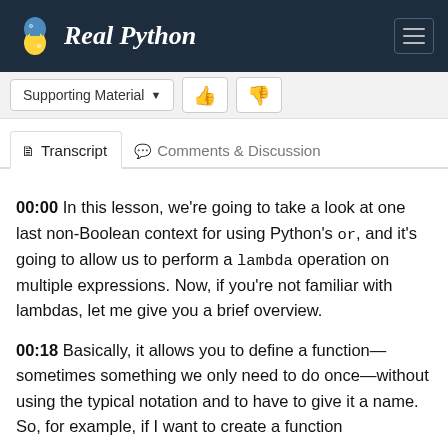Real Python
Supporting Material
Transcript  Comments & Discussion
00:00 In this lesson, we're going to take a look at one last non-Boolean context for using Python's or, and it's going to allow us to perform a lambda operation on multiple expressions. Now, if you're not familiar with lambdas, let me give you a brief overview.
00:18 Basically, it allows you to define a function—sometimes something we only need to do once—without using the typical notation and to have to give it a name. So, for example, if I want to create a function